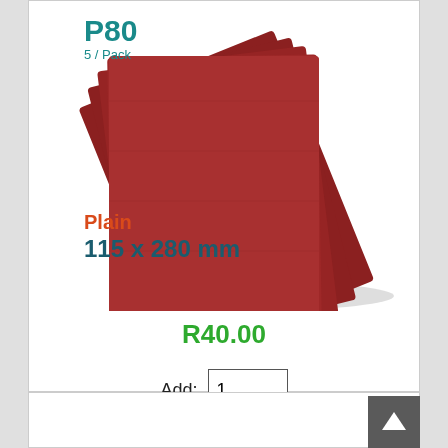[Figure (photo): Fanned stack of red sandpaper sheets, P80 grit, Plain, 115 x 280 mm, 5 per pack]
R40.00
Add: 1
Add to Cart
Tork Craft Sanding Sheet Orb 95 X 230